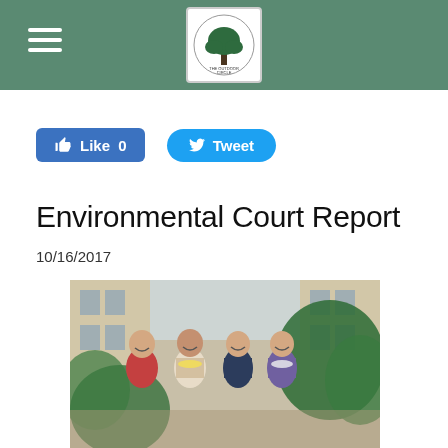The Outdoor Circle — navigation header
[Figure (logo): The Outdoor Circle logo — circular emblem with tree illustration and organization name]
Like 0   Tweet
Environmental Court Report
10/16/2017
[Figure (photo): Four people posing together outdoors in a courtyard with tropical plants and a building in the background. They are wearing leis and smiling.]